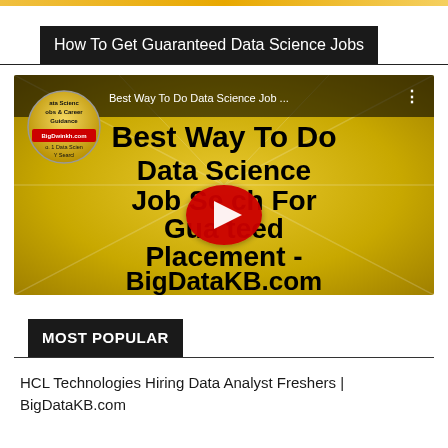How To Get Guaranteed Data Science Jobs
[Figure (screenshot): YouTube video thumbnail showing 'Best Way To Do Data Science Job Search For Guaranteed Placement - BigDataKB.com' on a gold/yellow background with a red play button. Channel badge visible in top left. Video title bar overlay at top reads 'Best Way To Do Data Science Job ...']
MOST POPULAR
HCL Technologies Hiring Data Analyst Freshers | BigDataKB.com